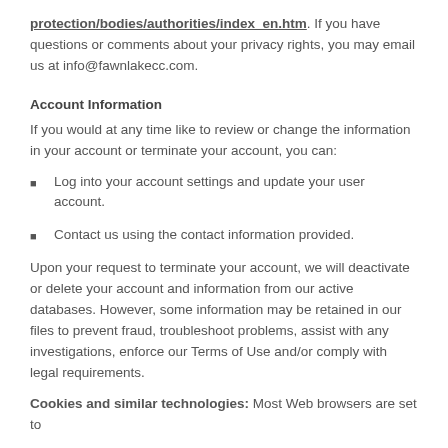protection/bodies/authorities/index_en.htm. If you have questions or comments about your privacy rights, you may email us at info@fawnlakecc.com.
Account Information
If you would at any time like to review or change the information in your account or terminate your account, you can:
Log into your account settings and update your user account.
Contact us using the contact information provided.
Upon your request to terminate your account, we will deactivate or delete your account and information from our active databases. However, some information may be retained in our files to prevent fraud, troubleshoot problems, assist with any investigations, enforce our Terms of Use and/or comply with legal requirements.
Cookies and similar technologies: Most Web browsers are set to